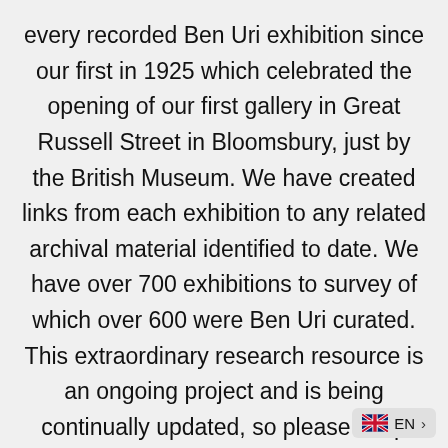every recorded Ben Uri exhibition since our first in 1925 which celebrated the opening of our first gallery in Great Russell Street in Bloomsbury, just by the British Museum. We have created links from each exhibition to any related archival material identified to date. We have over 700 exhibitions to survey of which over 600 were Ben Uri curated. This extraordinary research resource is an ongoing project and is being continually updated, so please keep checking.